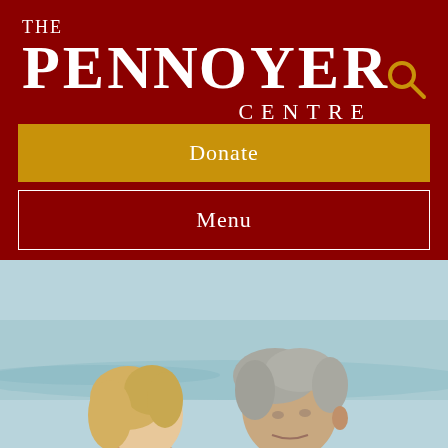[Figure (logo): The Pennoyer Centre logo in white text on dark red background]
Donate
Menu
[Figure (photo): An older couple at a beach, woman with blonde hair and man with grey hair, looking ahead with the ocean in the background]